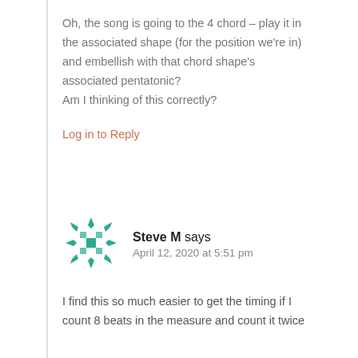Oh, the song is going to the 4 chord – play it in the associated shape (for the position we're in) and embellish with that chord shape's associated pentatonic?
Am I thinking of this correctly?
Log in to Reply
[Figure (logo): Teal/green decorative snowflake-like geometric avatar icon for user Steve M]
Steve M says
April 12, 2020 at 5:51 pm
I find this so much easier to get the timing if I count 8 beats in the measure and count it twice